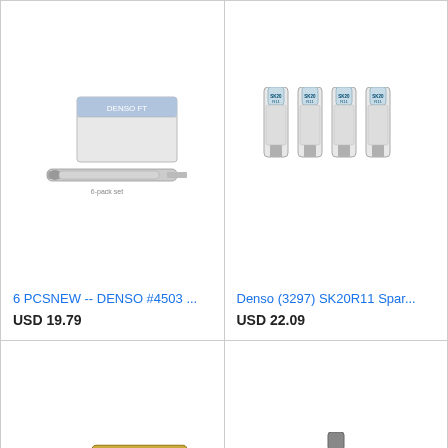[Figure (photo): DENSO spark plugs with product packaging - 6 piece set]
6 PCSNEW -- DENSO #4503 ...
USD 19.79
[Figure (photo): Denso SK20R11 spark plugs set of 4]
Denso (3297) SK20R11 Spar...
USD 22.09
[Figure (photo): DENSO Iridium Long Life spark plugs with blue box packaging]
DENSO # 3461 IRIDIUM LON...
USD 41.28
[Figure (photo): Single DENSO SK20HR11 Iridium spark plug]
DENSO -SK20HR11- IRIDIU...
USD 32.00
[Figure (photo): Single spark plug - bottom partial view]
[Figure (photo): Single spark plug - bottom partial view angled]